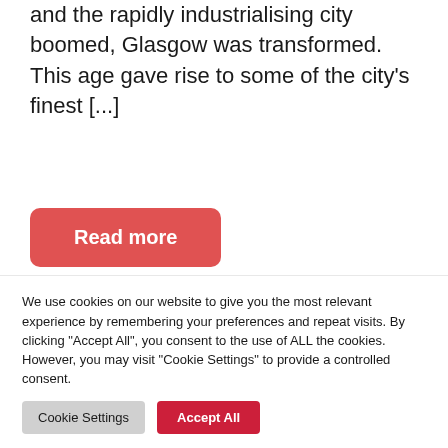and the rapidly industrialising city boomed, Glasgow was transformed. This age gave rise to some of the city's finest [...]
Read more
We use cookies on our website to give you the most relevant experience by remembering your preferences and repeat visits. By clicking "Accept All", you consent to the use of ALL the cookies. However, you may visit "Cookie Settings" to provide a controlled consent.
Cookie Settings
Accept All